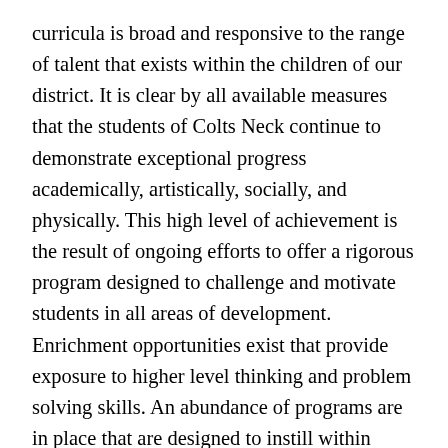curricula is broad and responsive to the range of talent that exists within the children of our district. It is clear by all available measures that the students of Colts Neck continue to demonstrate exceptional progress academically, artistically, socially, and physically. This high level of achievement is the result of ongoing efforts to offer a rigorous program designed to challenge and motivate students in all areas of development. Enrichment opportunities exist that provide exposure to higher level thinking and problem solving skills. An abundance of programs are in place that are designed to instill within children the desire to become lifelong learners. Instructional practices that require active learning, mastery of essential skills, the application of knowledge to real-life problems, and creative thinking can be observed in classrooms, each and every day of the school year. Excellence in drama, the fine and performing arts, and athletics are visible signs of the manner in which the district seeks to address the principles of multiple intelligence theory, personalized learning, and student